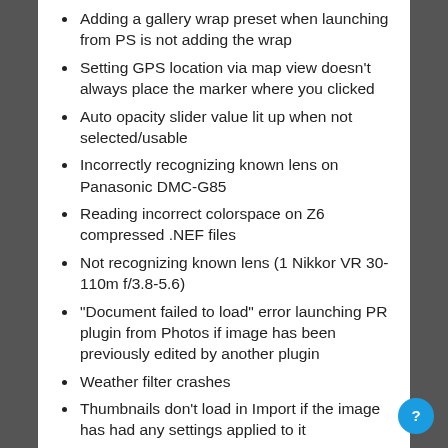Adding a gallery wrap preset when launching from PS is not adding the wrap
Setting GPS location via map view doesn't always place the marker where you clicked
Auto opacity slider value lit up when not selected/usable
Incorrectly recognizing known lens on Panasonic DMC-G85
Reading incorrect colorspace on Z6 compressed .NEF files
Not recognizing known lens (1 Nikkor VR 30-110m f/3.8-5.6)
"Document failed to load" error launching PR plugin from Photos if image has been previously edited by another plugin
Weather filter crashes
Thumbnails don't load in Import if the image has had any settings applied to it
Can't type in a value for leveling tool